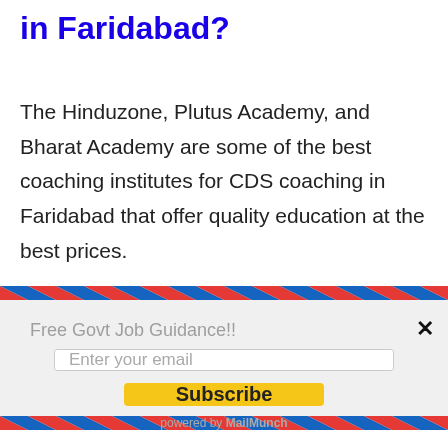in Faridabad?
The Hinduzone, Plutus Academy, and Bharat Academy are some of the best coaching institutes for CDS coaching in Faridabad that offer quality education at the best prices.
[Figure (other): Email subscription popup with airmail-style striped border. Contains label 'Free Govt Job Guidance!!', an email input field, a yellow Subscribe button, and 'powered by MailMunch' footer.]